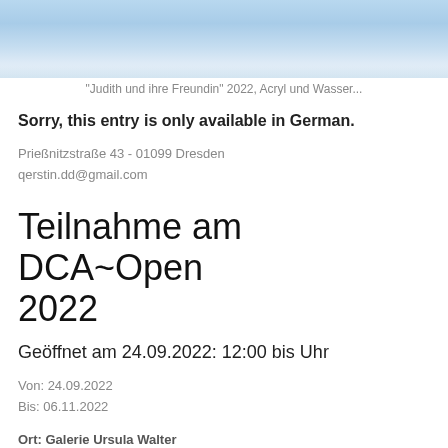[Figure (photo): Blue/light watercolor or acrylic painting detail, abstract horizontal strokes in shades of blue and white]
"Judith und ihre Freundin" 2022, Acryl und Wasser...
Sorry, this entry is only available in German.
Prießnitzstraße 43 - 01099 Dresden
qerstin.dd@gmail.com
Teilnahme am DCA~Open 2022
Geöffnet am 24.09.2022: 12:00 bis Uhr
Von: 24.09.2022
Bis: 06.11.2022
Ort: Galerie Ursula Walter
(Deutsch) Artist Collective SCHAUM: Kiosk der einfachen Antw...